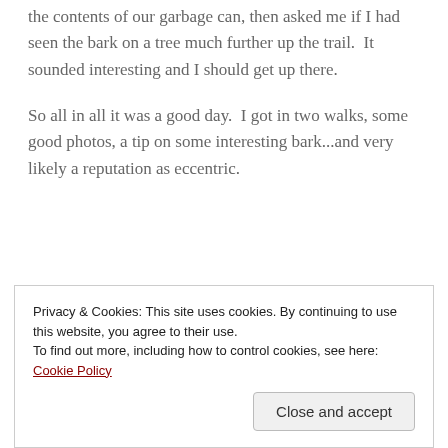the contents of our garbage can, then asked me if I had seen the bark on a tree much further up the trail.  It sounded interesting and I should get up there.
So all in all it was a good day.  I got in two walks, some good photos, a tip on some interesting bark...and very likely a reputation as eccentric.
Privacy & Cookies: This site uses cookies. By continuing to use this website, you agree to their use.
To find out more, including how to control cookies, see here: Cookie Policy
On My Walks